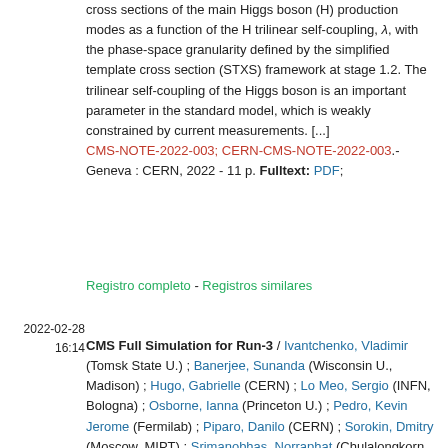cross sections of the main Higgs boson (H) production modes as a function of the H trilinear self-coupling, λ, with the phase-space granularity defined by the simplified template cross section (STXS) framework at stage 1.2. The trilinear self-coupling of the Higgs boson is an important parameter in the standard model, which is weakly constrained by current measurements. [...] CMS-NOTE-2022-003; CERN-CMS-NOTE-2022-003.- Geneva : CERN, 2022 - 11 p. Fulltext: PDF;
Registro completo - Registros similares
2022-02-28 16:14
CMS Full Simulation for Run-3 / Ivantchenko, Vladimir (Tomsk State U.) ; Banerjee, Sunanda (Wisconsin U., Madison) ; Hugo, Gabrielle (CERN) ; Lo Meo, Sergio (INFN, Bologna) ; Osborne, Ianna (Princeton U.) ; Pedro, Kevin Jerome (Fermilab) ; Piparo, Danilo (CERN) ; Sorokin, Dmitry (Moscow, MIPT) ; Srimanobhas, Norraphat (Chulalongkorn U.)